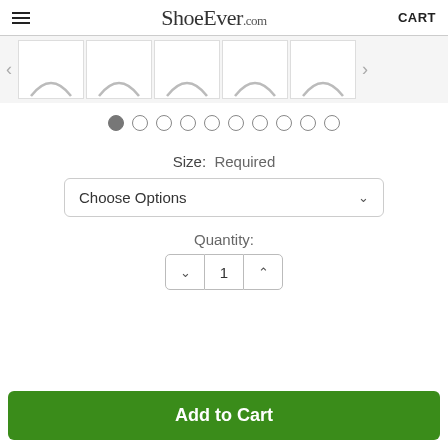ShoeEver.com | CART
[Figure (screenshot): Thumbnail image strip showing 5 shoe image thumbnails with left and right navigation arrows]
[Figure (other): Carousel pagination dots: 10 circles, first one filled/active]
Size: Required
Choose Options
Quantity:
1
Add to Cart